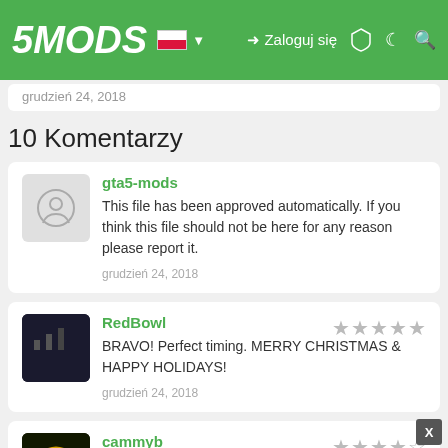5MODS | Zaloguj się
grudzień 24, 2018
10 Komentarzy
gta5-mods
This file has been approved automatically. If you think this file should not be here for any reason please report it.
grudzień 24, 2018
RedBowl
BRAVO! Perfect timing. MERRY CHRISTMAS & HAPPY HOLIDAYS!
grudzień 24, 2018
cammyb
@Rose_Evolucion hi and merry xmas is this mod a manyso